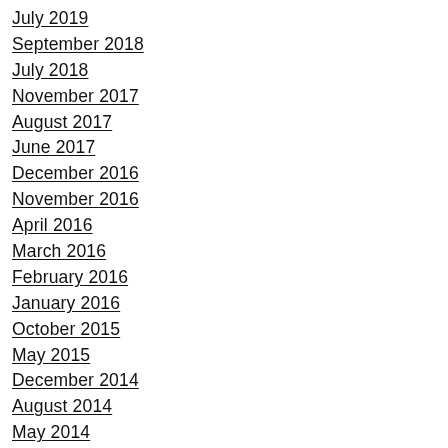July 2019
September 2018
July 2018
November 2017
August 2017
June 2017
December 2016
November 2016
April 2016
March 2016
February 2016
January 2016
October 2015
May 2015
December 2014
August 2014
May 2014
February 2014